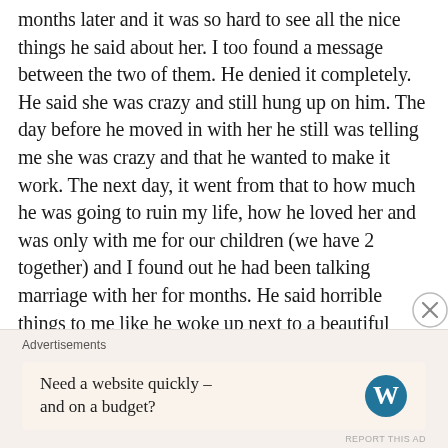months later and it was so hard to see all the nice things he said about her. I too found a message between the two of them. He denied it completely. He said she was crazy and still hung up on him. The day before he moved in with her he still was telling me she was crazy and that he wanted to make it work. The next day, it went from that to how much he was going to ruin my life, how he loved her and was only with me for our children (we have 2 together) and I found out he had been talking marriage with her for months. He said horrible things to me like he woke up next to a beautiful woman that he loved and a blow job every morning and that I was nothing. It is a horrible experience to go through. What you need to do though is remember how you felt during that time, remember how you felt BEFORE you even saw that text message. How untrusting and on edge and full of anxiety
Advertisements
Need a website quickly – and on a budget?